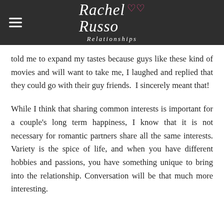Rachel Russo Relationships
told me to expand my tastes because guys like these kind of movies and will want to take me, I laughed and replied that they could go with their guy friends.  I sincerely meant that!
While I think that sharing common interests is important for a couple's long term happiness, I know that it is not necessary for romantic partners share all the same interests. Variety is the spice of life, and when you have different hobbies and passions, you have something unique to bring into the relationship. Conversation will be that much more interesting.